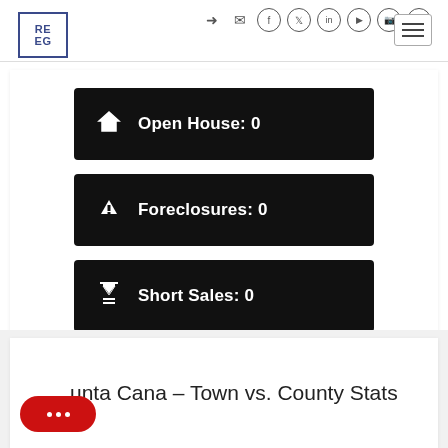REEG | Social navigation with icons
Open House: 0
Foreclosures: 0
Short Sales: 0
unta Cana – Town vs. County Stats